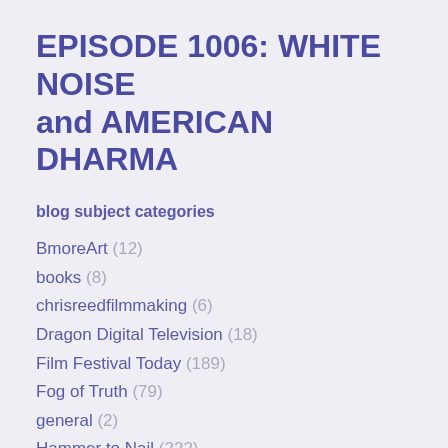EPISODE 1006: WHITE NOISE and AMERICAN DHARMA
blog subject categories
BmoreArt (12)
books (8)
chrisreedfilmmaking (6)
Dragon Digital Television (18)
Film Festival Today (189)
Fog of Truth (79)
general (2)
Hammer to Nail (222)
media (32)
movie reviews (901)
movie thoughts (340)